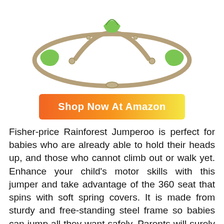[Figure (photo): Fisher-Price Rainforest Jumperoo frame with green fabric accents — top portion showing the tan/beige circular steel frame with green padded connectors]
Shop Now At Amazon
Fisher-price Rainforest Jumperoo is perfect for babies who are already able to hold their heads up, and those who cannot climb out or walk yet. Enhance your child's motor skills with this jumper and take advantage of the 360 seat that spins with soft spring covers. It is made from sturdy and free-standing steel frame so babies can jump all they want safely. Parents will surely love the quick take-down, and portability of this jumperoo, it is